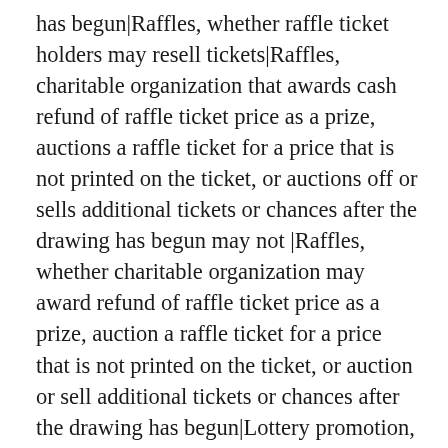has begun|Raffles, whether raffle ticket holders may resell tickets|Raffles, charitable organization that awards cash refund of raffle ticket price as a prize, auctions a raffle ticket for a price that is not printed on the ticket, or auctions off or sells additional tickets or chances after the drawing has begun may not |Raffles, whether charitable organization may award refund of raffle ticket price as a prize, auction a raffle ticket for a price that is not printed on the ticket, or auction or sell additional tickets or chances after the drawing has begun|Lottery promotion, charitable organization that awards cash refund of raffle ticket price as a prize, auctions a raffle ticket for a price that is not printed on the ticket, or auctions off or sells additional tickets or